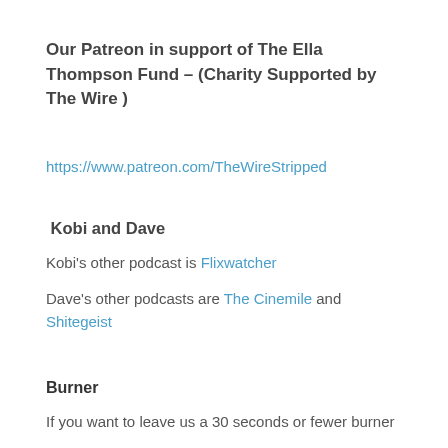Our Patreon in support of The Ella Thompson Fund – (Charity Supported by The Wire )
https://www.patreon.com/TheWireStripped
Kobi and Dave
Kobi's other podcast is Flixwatcher
Dave's other podcasts are The Cinemile and Shitegeist
Burner
If you want to leave us a 30 seconds or fewer burner